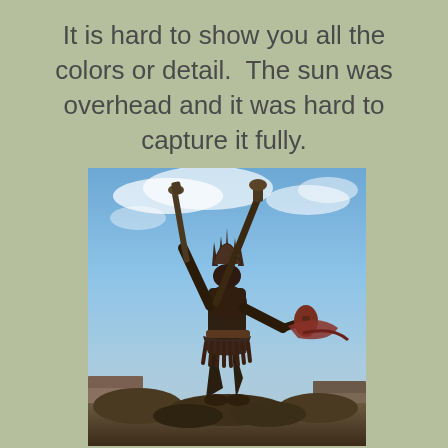It is hard to show you all the colors or detail.  The sun was overhead and it was hard to capture it fully.
[Figure (photo): A photograph taken from below looking up at a large Native American ceremonial dancer statue holding staffs/swords raised aloft, against a blue sky with white clouds. A building roofline is visible at lower left and lower right. Dry vegetation is at the base. The statue is dark/silhouetted against the bright sky.]